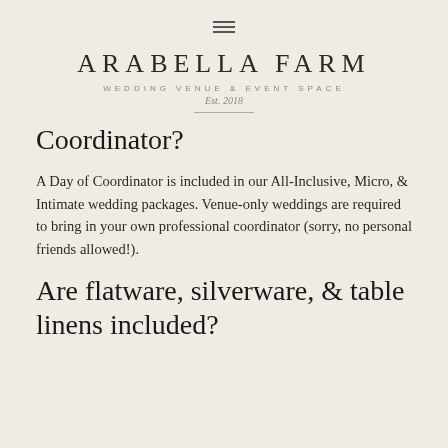ARABELLA FARM
WEDDING VENUE & EVENT SPACE
Est. 2018
Coordinator?
A Day of Coordinator is included in our All-Inclusive, Micro, & Intimate wedding packages. Venue-only weddings are required to bring in your own professional coordinator (sorry, no personal friends allowed!).
Are flatware, silverware, & table linens included?